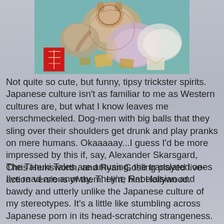[Figure (illustration): Japanese woodblock print (ukiyo-e style) showing tanuki (raccoon dog trickster spirits) in a scene with teal/turquoise background, featuring a red seal/stamp in the lower left corner]
Not quite so cute, but funny, tipsy trickster spirits. Japanese culture isn't as familiar to me as Western cultures are, but what I know leaves me verschmeckeled. Dog-men with big balls that they sling over their shoulders get drunk and play pranks on mere humans. Okaaaaay...I guess I'd be more impressed by this if, say, Alexander Skarsgard, Chris Hemsworth, and Ryan Gosling played live-action versions of them. Hint, hint Hollywood.
The Tanuki Tales are amusing, the translated ones I've read are anyway. They're Rabelaisian and bawdy and utterly unlike the Japanese culture of my stereotypes. It's a little like stumbling across Japanese porn in its head-scratching strangeness. Then Arthur got his mitts on the concept. Ever tried putting out a grease fire with a hose? Pretty much gives you the sense of what Our Hero has in store for the intrepid reader. Three tales that present Arthur's intelligence and